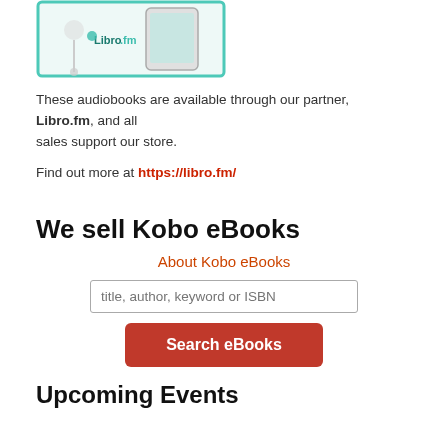[Figure (illustration): Libro.fm audiobooks promotional image showing a smartphone and earbuds with a teal border]
These audiobooks are available through our partner, Libro.fm, and all sales support our store.
Find out more at https://libro.fm/
We sell Kobo eBooks
About Kobo eBooks
title, author, keyword or ISBN
Search eBooks
Upcoming Events